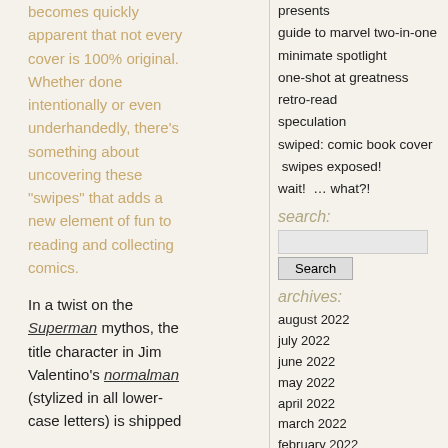becomes quickly apparent that not every cover is 100% original. Whether done intentionally or even underhandedly, there's something about uncovering these "swipes" that adds a new element of fun to reading and collecting comics.
In a twist on the Superman mythos, the title character in Jim Valentino's normalman (stylized in all lower-case letters) is shipped
presents
guide to marvel two-in-one
minimate spotlight
one-shot at greatness
retro-read
speculation
swiped: comic book cover swipes exposed!
wait! … what?!
search:
archives:
august 2022
july 2022
june 2022
may 2022
april 2022
march 2022
february 2022
january 2022
december 2021
november 2021
october 2021
september 2021
august 2021
july 2021
june 2021
may 2021